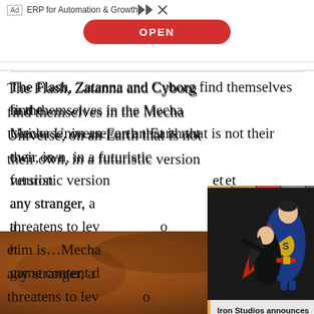[Figure (screenshot): Advertisement banner: 'Ad ERP for Automation & Growth' with red OPEN button and playback controls]
The Flash, Zatanna and Cyborg find themselves in the Mecha Universe, on an Earth that is not their own, in a futuristic version [obscured] et any stranger, a [obscured] threatens to lev[obscured] o him is…Mecha [obscured] game content d[obscured]
[Figure (screenshot): Floating video/article overlay card on dark background showing Superman and Lois Lane statue figurine with caption: Iron Studios announces new Superman and Lois statue. Has progress bar at top, menu dots, close X button, and orange arrow button.]
Release Date: 1[obscured]
[Figure (photo): Bottom portion of a dark orange/brown textured image, possibly a superhero movie promotional image with a diagonal light streak]